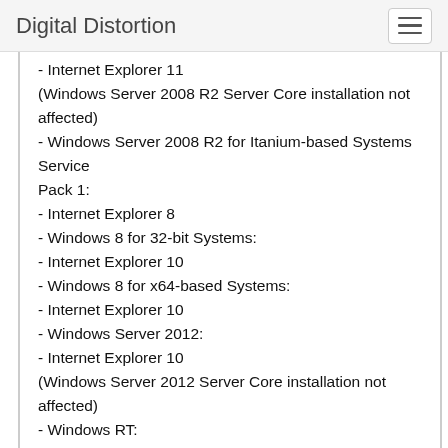Digital Distortion
- Internet Explorer 11
(Windows Server 2008 R2 Server Core installation not affected)
- Windows Server 2008 R2 for Itanium-based Systems Service Pack 1:
- Internet Explorer 8
- Windows 8 for 32-bit Systems:
- Internet Explorer 10
- Windows 8 for x64-based Systems:
- Internet Explorer 10
- Windows Server 2012:
- Internet Explorer 10
(Windows Server 2012 Server Core installation not affected)
- Windows RT:
- Internet Explorer 10
- Windows 8.1 for 32-bit Systems:
- Internet Explorer 11
- Windows 8.1 for x64-based Systems:
- Internet Explorer 11